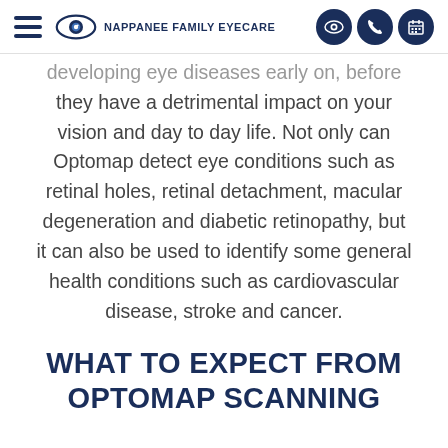Nappanee Family Eyecare
developing eye diseases early on, before they have a detrimental impact on your vision and day to day life. Not only can Optomap detect eye conditions such as retinal holes, retinal detachment, macular degeneration and diabetic retinopathy, but it can also be used to identify some general health conditions such as cardiovascular disease, stroke and cancer.
WHAT TO EXPECT FROM OPTOMAP SCANNING